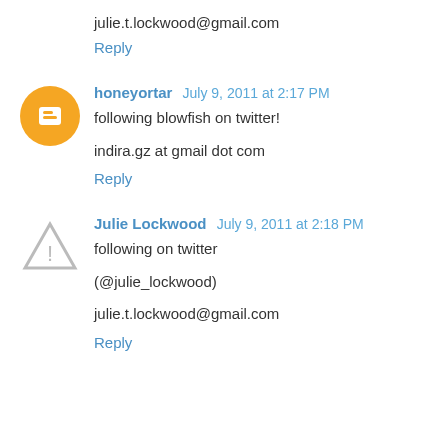julie.t.lockwood@gmail.com
Reply
honeyortar  July 9, 2011 at 2:17 PM
following blowfish on twitter!
indira.gz at gmail dot com
Reply
Julie Lockwood  July 9, 2011 at 2:18 PM
following on twitter
(@julie_lockwood)
julie.t.lockwood@gmail.com
Reply